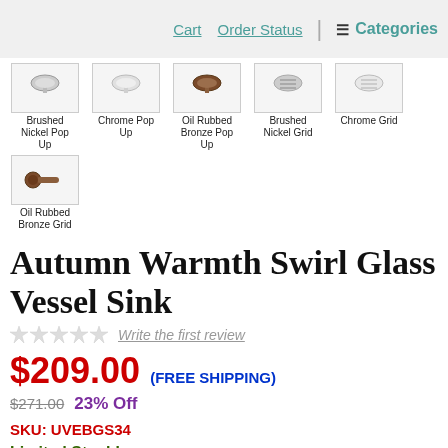Cart | Order Status | Categories
[Figure (photo): Thumbnail: Brushed Nickel Pop Up drain]
Brushed Nickel Pop Up
[Figure (photo): Thumbnail: Chrome Pop Up drain]
Chrome Pop Up
[Figure (photo): Thumbnail: Oil Rubbed Bronze Pop Up drain]
Oil Rubbed Bronze Pop Up
[Figure (photo): Thumbnail: Brushed Nickel Grid drain]
Brushed Nickel Grid
[Figure (photo): Thumbnail: Chrome Grid drain]
Chrome Grid
[Figure (photo): Thumbnail: Oil Rubbed Bronze Grid drain]
Oil Rubbed Bronze Grid
Autumn Warmth Swirl Glass Vessel Sink
Write the first review
$209.00 (FREE SHIPPING)
$271.00  23% Off
SKU: UVEBGS34
Limited Stock!
Do you want a vessel sink drain? (Required F